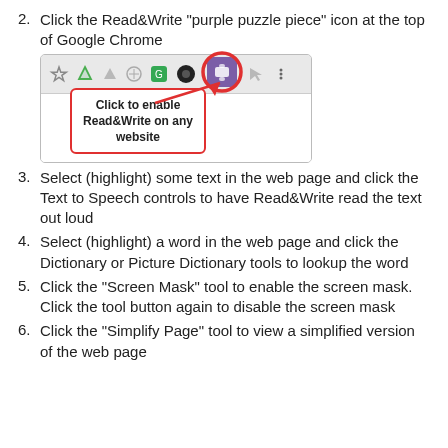2. Click the Read&Write "purple puzzle piece" icon at the top of Google Chrome
[Figure (screenshot): Screenshot of Google Chrome toolbar showing browser extension icons. The Read&Write purple puzzle piece icon is highlighted with a red circle. A callout box with a red border reads: Click to enable Read&Write on any website, with a red arrow pointing to the icon.]
3. Select (highlight) some text in the web page and click the Text to Speech controls to have Read&Write read the text out loud
4. Select (highlight) a word in the web page and click the Dictionary or Picture Dictionary tools to lookup the word
5. Click the "Screen Mask" tool to enable the screen mask. Click the tool button again to disable the screen mask
6. Click the "Simplify Page" tool to view a simplified version of the web page